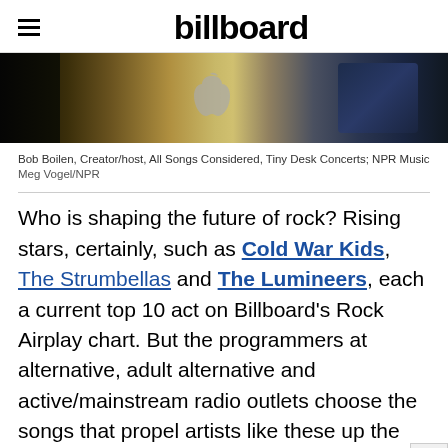billboard
[Figure (photo): Photo of Bob Boilen at a desk with Apple logo visible in background and electronics/equipment on desk]
Bob Boilen, Creator/host, All Songs Considered, Tiny Desk Concerts; NPR Music
Meg Vogel/NPR
Who is shaping the future of rock? Rising stars, certainly, such as Cold War Kids, The Strumbellas and The Lumineers, each a current top 10 act on Billboard's Rock Airplay chart. But the programmers at alternative, adult alternative and active/mainstream radio outlets choose the songs that propel artists like these up the charts. The 35 radio programmers present 30...